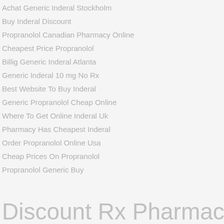Achat Generic Inderal Stockholm
Buy Inderal Discount
Propranolol Canadian Pharmacy Online
Cheapest Price Propranolol
Billig Generic Inderal Atlanta
Generic Inderal 10 mg No Rx
Best Website To Buy Inderal
Generic Propranolol Cheap Online
Where To Get Online Inderal Uk
Pharmacy Has Cheapest Inderal
Order Propranolol Online Usa
Cheap Prices On Propranolol
Propranolol Generic Buy
Discount Rx Pharmacy.